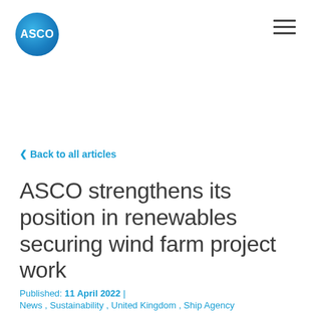ASCO
< Back to all articles
ASCO strengthens its position in renewables securing wind farm project work
Published: 11 April 2022 |
News , Sustainability , United Kingdom , Ship Agency